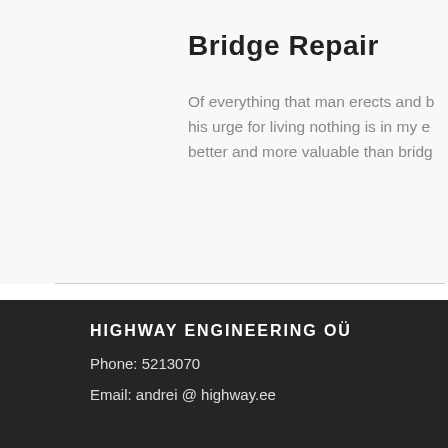Bridge Repair
Of everything that man erects and builds in his urge for living nothing is in my eyes better and more valuable than bridg
[Figure (other): Pagination dots row with 5 dots, second dot highlighted in orange]
HIGHWAY ENGINEERING OÜ
Phone: 5213070
Email: andrei @ highway.ee